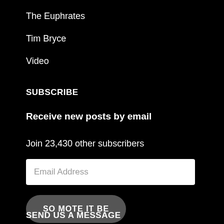The Euphrates
Tim Bryce
Video
SUBSCRIBE
Receive new posts by email
Join 23,430 other subscribers
Email Address
SO MOTE IT BE
SEND US A MESSAGE